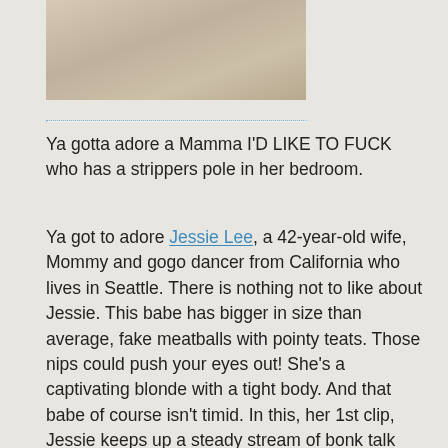[Figure (photo): Partial photo of a person, cropped, light tones]
Ya gotta adore a Mamma I'D LIKE TO FUCK who has a strippers pole in her bedroom.
Ya got to adore Jessie Lee, a 42-year-old wife, Mommy and gogo dancer from California who lives in Seattle. There is nothing not to like about Jessie. This babe has bigger in size than average, fake meatballs with pointy teats. Those nips could push your eyes out! She’s a captivating blonde with a tight body. And that babe of course isn’t timid. In this, her 1st clip, Jessie keeps up a steady stream of bonk talk whilst working that pole and working a bigger in size than standard, red toy in and without her constricted muff.